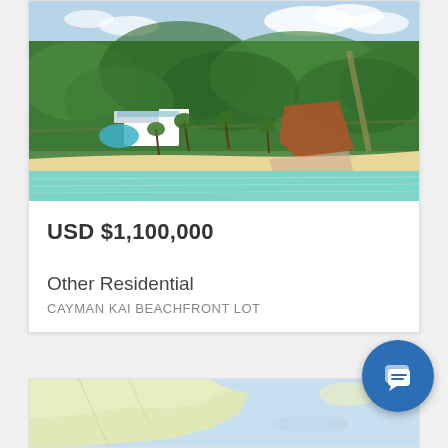[Figure (photo): Aerial view of a beachfront property in Cayman Kai showing lush green vegetation, white buildings with blue-green pool, sandy beach with turquoise water, and a reddish-brown cleared lot highlighted in the center-right area.]
USD $1,100,000
Other Residential
CAYMAN KAI BEACHFRONT LOT
[Figure (map): Partial map view showing coastal/island geography with light yellow land and light blue water areas.]